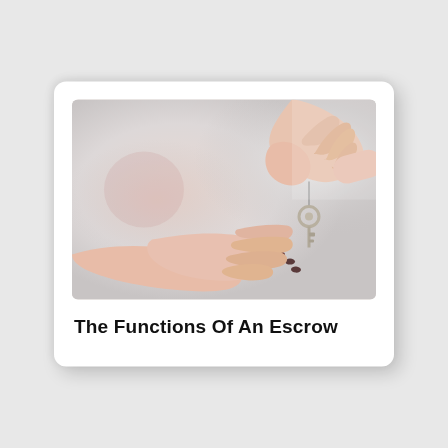[Figure (photo): Two hands exchanging a key — one hand (upper right) holding and lowering a key, another hand (lower left) open and receiving it, on a light blurred background suggesting an interior space.]
The Functions Of An Escrow